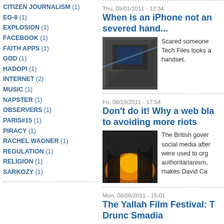CITIZEN JOURNALISM (1)
EG-8 (1)
EXPLOSION (1)
FACEBOOK (1)
FAITH APPS (1)
GOD (1)
HADOPI (1)
INTERNET (2)
MUSIC (1)
NAPSTER (1)
OBSERVERS (1)
PARIS#15 (1)
PIRACY (1)
RACHEL WAGNER (1)
REGULATION (1)
RELIGION (1)
SARKOZY (1)
Thu, 09/01/2011 - 12:34
When is an iPhone not an severed hand...
[Figure (photo): Close-up photo of a smartphone/iPhone being held]
Scared someone Tech Files looks a handset.
Fri, 08/19/2011 - 17:54
Don't do it! Why a web bla to avoiding more riots
[Figure (photo): Photo of riot police silhouetted against fire/flames]
The British gover social media after were used to org authoritarianism, makes David Ca
Mon, 08/08/2011 - 15:01
The Yallah Film Festival: T Drunc Smadia